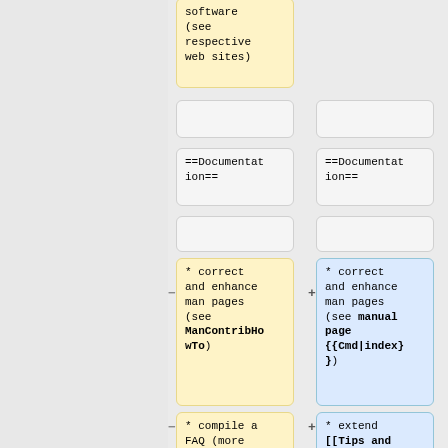[Figure (screenshot): Diff view showing two-column comparison of wiki markup. Left column (yellow/old) and right column (blue/new) show cards with content including 'software (see respective web sites)', '==Documentation==', empty cards, '* correct and enhance man pages (see ManContribHowTo)' vs '* correct and enhance man pages (see manual page {{Cmd|index}})', and '* compile a FAQ (more complete than' vs '* extend [[Tips and Tricks]]'.]